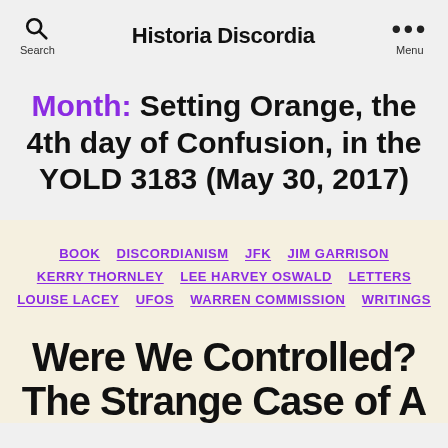Search | Historia Discordia | Menu
Month: Setting Orange, the 4th day of Confusion, in the YOLD 3183 (May 30, 2017)
BOOK
DISCORDIANISM
JFK
JIM GARRISON
KERRY THORNLEY
LEE HARVEY OSWALD
LETTERS
LOUISE LACEY
UFOS
WARREN COMMISSION
WRITINGS
Were We Controlled? The Strange Case of A…